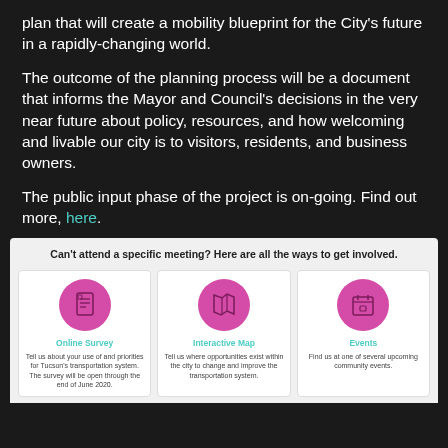plan that will create a mobility blueprint for the City's future in a rapidly-changing world.
The outcome of the planning process will be a document that informs the Mayor and Council's decisions in the very near future about policy, resources, and how welcoming and livable our city is to visitors, residents, and business owners.
The public input phase of the project is on-going. Find out more, here.
Can't attend a specific meeting? Here are all the ways to get involved.
[Figure (infographic): Three cards showing ways to get involved: Online Survey, Interactive Map, and Events, each with a pink circle icon and description text.]